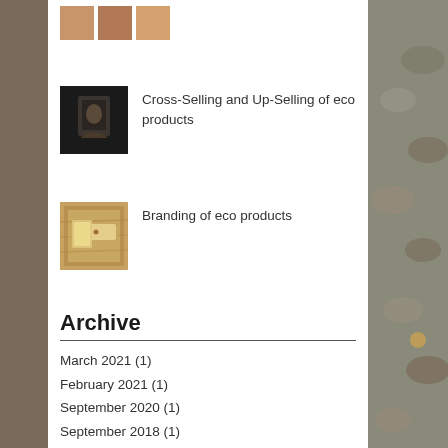[Figure (photo): Small thumbnail images at top of post list]
[Figure (photo): Dark portrait/person thumbnail for Cross-Selling and Up-Selling post]
Cross-Selling and Up-Selling of eco products
[Figure (photo): Wooden surface thumbnail for Branding post]
Branding of eco products
Archive
March 2021 (1)
February 2021 (1)
September 2020 (1)
September 2018 (1)
August 2018 (1)